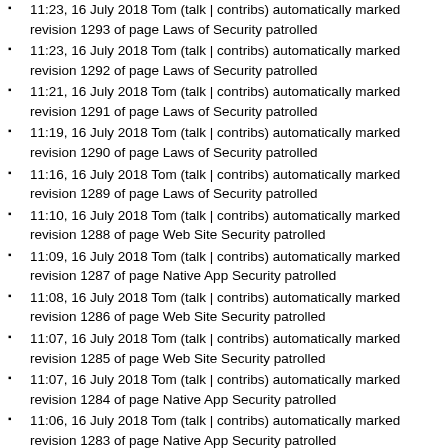11:23, 16 July 2018 Tom (talk | contribs) automatically marked revision 1293 of page Laws of Security patrolled
11:23, 16 July 2018 Tom (talk | contribs) automatically marked revision 1292 of page Laws of Security patrolled
11:21, 16 July 2018 Tom (talk | contribs) automatically marked revision 1291 of page Laws of Security patrolled
11:19, 16 July 2018 Tom (talk | contribs) automatically marked revision 1290 of page Laws of Security patrolled
11:16, 16 July 2018 Tom (talk | contribs) automatically marked revision 1289 of page Laws of Security patrolled
11:10, 16 July 2018 Tom (talk | contribs) automatically marked revision 1288 of page Web Site Security patrolled
11:09, 16 July 2018 Tom (talk | contribs) automatically marked revision 1287 of page Native App Security patrolled
11:08, 16 July 2018 Tom (talk | contribs) automatically marked revision 1286 of page Web Site Security patrolled
11:07, 16 July 2018 Tom (talk | contribs) automatically marked revision 1285 of page Web Site Security patrolled
11:07, 16 July 2018 Tom (talk | contribs) automatically marked revision 1284 of page Native App Security patrolled
11:06, 16 July 2018 Tom (talk | contribs) automatically marked revision 1283 of page Native App Security patrolled
10:52, 16 July 2018 Tom (talk | contribs) automatically marked revision 1282 of page Web Site Security patrolled
10:51, 16 July 2018 Tom (talk | contribs) automatically marked revision 1281 of page Web Site Security patrolled